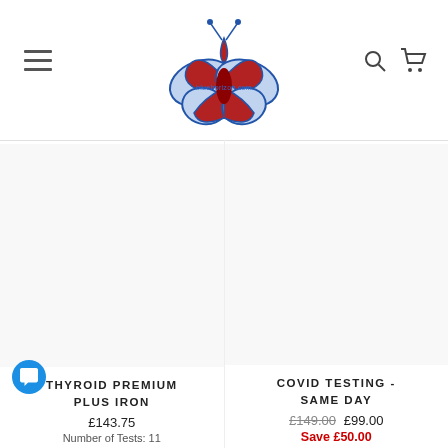[Figure (logo): BlueHorizon butterfly logo made of red blood drop shapes with blue outline, text 'bluehorizon.com' in the center]
Sale
THYROID PREMIUM PLUS IRON
£143.75
Number of Tests: 11
COVID TESTING - SAME DAY
£149.00  £99.00
Save £50.00